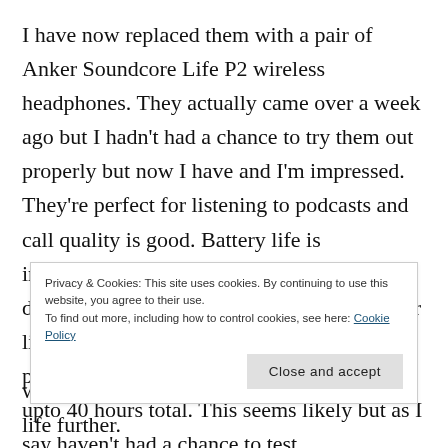I have now replaced them with a pair of Anker Soundcore Life P2 wireless headphones. They actually came over a week ago but I hadn't had a chance to try them out properly but now I have and I'm impressed. They're perfect for listening to podcasts and call quality is good. Battery life is impressive, I have yet to manage to fully discharge them before returning them to their little charging box. The stated time is 7 hrs per ear pod and with charging in the case upto 40 hours total. This seems likely but as I say haven't had a chance to test th...
Privacy & Cookies: This site uses cookies. By continuing to use this website, you agree to their use. To find out more, including how to control cookies, see here: Cookie Policy
Close and accept
which again means you can push the battery life further.